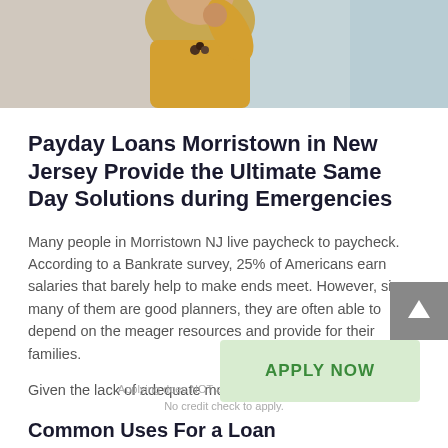[Figure (photo): Photo of a woman in a yellow/mustard top holding glasses to her face against a light teal background, cropped at the top of the page.]
Payday Loans Morristown in New Jersey Provide the Ultimate Same Day Solutions during Emergencies
Many people in Morristown NJ live paycheck to paycheck. According to a Bankrate survey, 25% of Americans earn salaries that barely help to make ends meet. However, since many of them are good planners, they are often able to depend on the meager resources and provide for their families.
Given the lack of adequate money, they usually have
Common Uses For a Loan